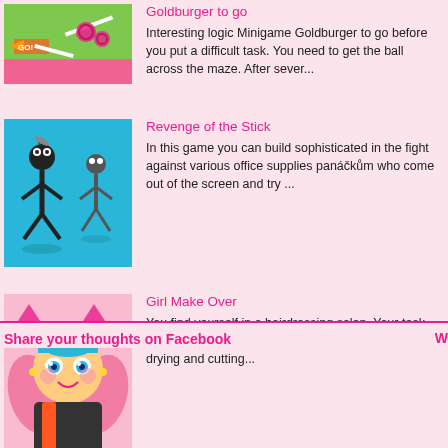[Figure (screenshot): Game thumbnail for Goldburger to go - colorful maze game with gears and arrow]
Goldburger to go
Interesting logic Minigame Goldburger to go before you put a difficult task. You need to get the ball across the maze. After sever...
[Figure (screenshot): Game thumbnail for Revenge of the Stick - stick figure characters on blue background]
Revenge of the Stick
In this game you can build sophisticated in the fight against various office supplies panáčkům who come out of the screen and try ...
[Figure (screenshot): Game thumbnail for Girl Make Over - anime girl in hairdressing salon]
Girl Make Over
You find yourself in a hairdressing salon. Your task will be to adjust the girl's hair. Start with washing, drying and cutting...
Share your thoughts on Facebook